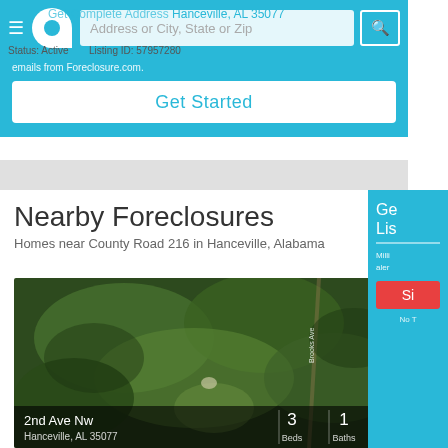Get Complete Address Hanceville, AL 35077 | Status: Active | Listing ID: 57957280
emails from Foreclosure.com.
Get Started
Nearby Foreclosures
Homes near County Road 216 in Hanceville, Alabama
[Figure (photo): Aerial satellite view of wooded area near 2nd Ave Nw, Hanceville, AL 35077. Property card showing 3 Beds, 1 Bath, — Sq. Ft.]
Ge
Lis
Milli
aler
Si
No T